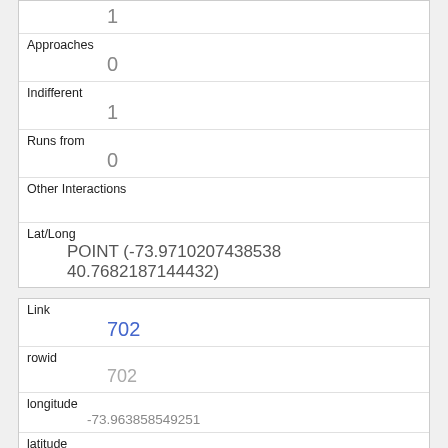| Field | Value |
| --- | --- |
|  | 1 |
| Approaches | 0 |
| Indifferent | 1 |
| Runs from | 0 |
| Other Interactions |  |
| Lat/Long | POINT (-73.9710207438538 40.7682187144432) |
| Field | Value |
| --- | --- |
| Link | 702 |
| rowid | 702 |
| longitude | -73.963858549251 |
| latitude | 40.7808999610914 |
| Unique Squirrel ID |  |